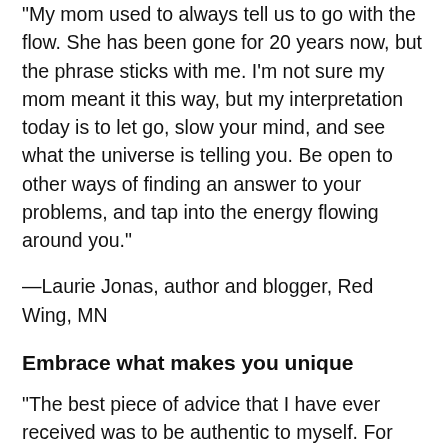“My mom used to always tell us to go with the flow. She has been gone for 20 years now, but the phrase sticks with me. I’m not sure my mom meant it this way, but my interpretation today is to let go, slow your mind, and see what the universe is telling you. Be open to other ways of finding an answer to your problems, and tap into the energy flowing around you.”
—Laurie Jonas, author and blogger, Red Wing, MN
Embrace what makes you unique
“The best piece of advice that I have ever received was to be authentic to myself. For years, I had tried to succeed by emulating people I admired and who had found success in their respective careers. Although it had helped to some degree, when I truly embraced who I was and allowed myself to focus on my strengths and